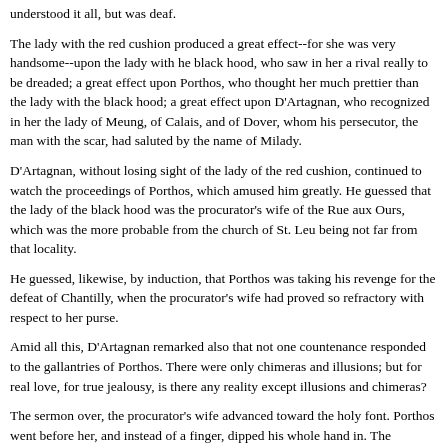understood it all, but was deaf.
The lady with the red cushion produced a great effect--for she was very handsome--upon the lady with he black hood, who saw in her a rival really to be dreaded; a great effect upon Porthos, who thought her much prettier than the lady with the black hood; a great effect upon D'Artagnan, who recognized in her the lady of Meung, of Calais, and of Dover, whom his persecutor, the man with the scar, had saluted by the name of Milady.
D'Artagnan, without losing sight of the lady of the red cushion, continued to watch the proceedings of Porthos, which amused him greatly. He guessed that the lady of the black hood was the procurator's wife of the Rue aux Ours, which was the more probable from the church of St. Leu being not far from that locality.
He guessed, likewise, by induction, that Porthos was taking his revenge for the defeat of Chantilly, when the procurator's wife had proved so refractory with respect to her purse.
Amid all this, D'Artagnan remarked also that not one countenance responded to the gallantries of Porthos. There were only chimeras and illusions; but for real love, for true jealousy, is there any reality except illusions and chimeras?
The sermon over, the procurator's wife advanced toward the holy font. Porthos went before her, and instead of a finger, dipped his whole hand in. The procurator's wife smiled, thinking that it was for her Porthos had put himself to this trouble; but she was cruelly and promptly undeceived. When she was only about three steps from him, he turned his head round, fixing his eyes steadfastly upon the lady with the red cushion, who had risen and was approaching, followed by her black boy and her woman.